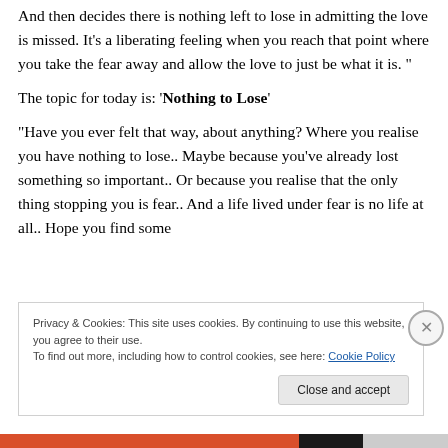And then decides there is nothing left to lose in admitting the love is missed. It’s a liberating feeling when you reach that point where you take the fear away and allow the love to just be what it is. “
The topic for today is: ‘Nothing to Lose’
“Have you ever felt that way, about anything? Where you realise you have nothing to lose.. Maybe because you’ve already lost something so important.. Or because you realise that the only thing stopping you is fear.. And a life lived under fear is no life at all.. Hope you find some
Privacy & Cookies: This site uses cookies. By continuing to use this website, you agree to their use.
To find out more, including how to control cookies, see here: Cookie Policy
Close and accept